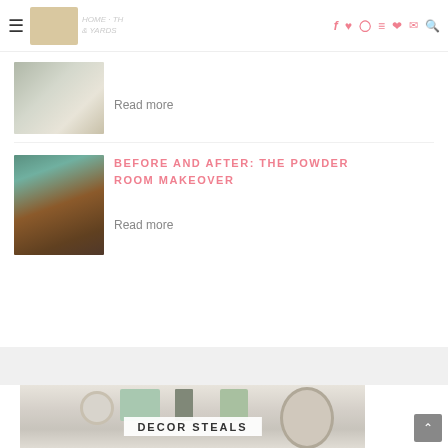Blog site header with hamburger menu, logo, and social icons (f, p, instagram, twitter, heart, envelope, search)
Read more
BEFORE AND AFTER: THE POWDER ROOM MAKEOVER
Read more
[Figure (photo): Farmhouse/rustic home decor styled vignette with plants, clock, signs, lantern, wreath. Text overlay reads DECOR STEALS.]